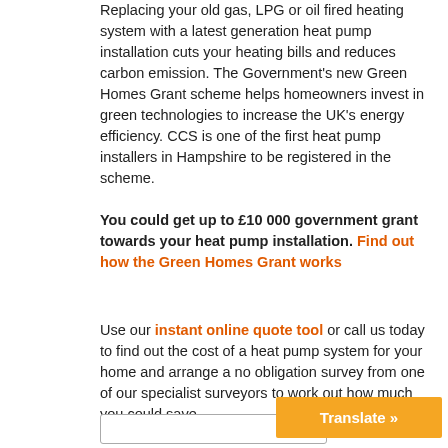Replacing your old gas, LPG or oil fired heating system with a latest generation heat pump installation cuts your heating bills and reduces carbon emission. The Government's new Green Homes Grant scheme helps homeowners invest in green technologies to increase the UK's energy efficiency. CCS is one of the first heat pump installers in Hampshire to be registered in the scheme.
You could get up to £10 000 government grant towards your heat pump installation. Find out how the Green Homes Grant works
Use our instant online quote tool or call us today to find out the cost of a heat pump system for your home and arrange a no obligation survey from one of our specialist surveyors to work out how much you could save.